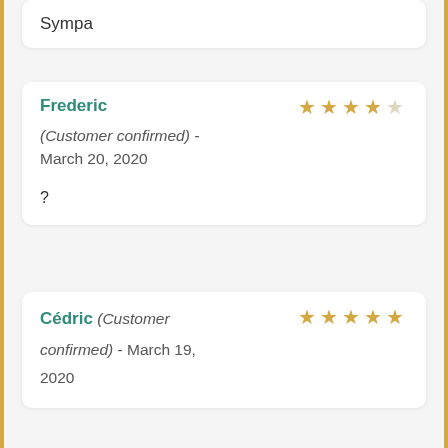Sympa
Frederic (Customer confirmed) - March 20, 2020 ?
Cédric (Customer confirmed) - March 19, 2020